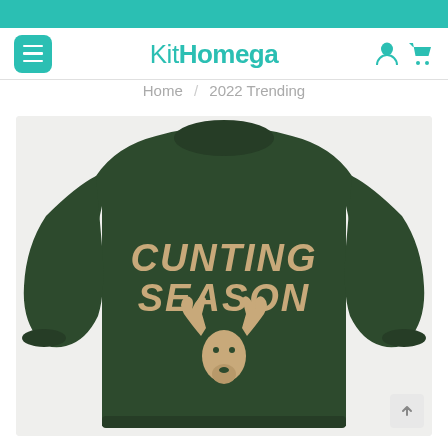[Figure (screenshot): Teal top navigation bar]
KitHomega — navigation header with menu button and icons
Home / 2022 Trending
[Figure (photo): Dark green long-sleeve sweatshirt with text 'CUNTING SEASON' and a deer head graphic in tan/beige print]